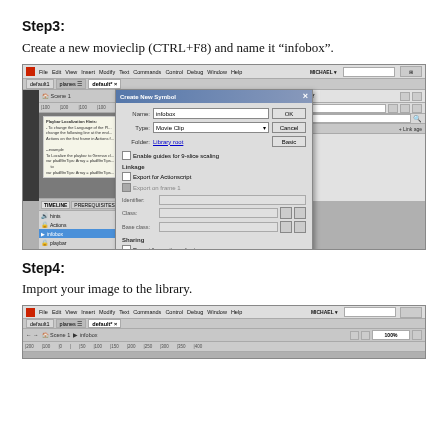Step3:
Create a new movieclip (CTRL+F8) and name it “infobox”.
[Figure (screenshot): Adobe Flash/Animate IDE screenshot showing a Create New Symbol dialog box with Name: infobox, Type: Movie Clip, and various options for linkage and sharing. The IDE shows the timeline with layers including infobox, Actions, hints, and playbar. The right panel shows the Library panel with various assets listed.]
Step4:
Import your image to the library.
[Figure (screenshot): Adobe Flash/Animate IDE screenshot showing the beginning of the Import to Library workflow, with the IDE open to the infobox scene and ruler visible.]